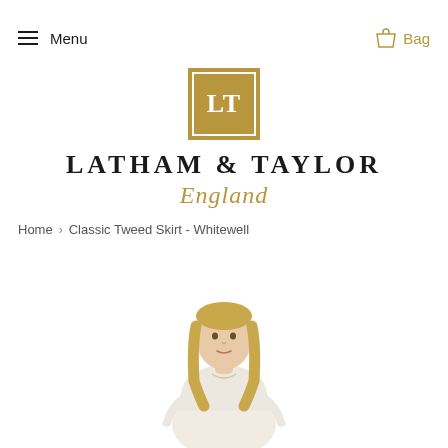Menu | Bag
[Figure (logo): Latham & Taylor England logo: gold square with LT monogram in white, brand name LATHAM & TAYLOR in bold serif capitals, England in gold italic script below]
Home › Classic Tweed Skirt - Whitewell
[Figure (photo): Photo of a blonde woman wearing a cream/ivory knit sweater, visible from waist up, posing against white background]